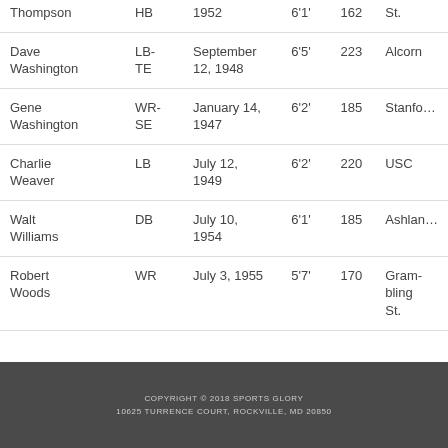| Name | Pos | DOB | Ht | Wt | College |
| --- | --- | --- | --- | --- | --- |
| Thompson | HB | 1952 | 6'1' | 162 | St. |
| Dave Washington | LB-TE | September 12, 1948 | 6'5' | 223 | Alcorn |
| Gene Washington | WR-SE | January 14, 1947 | 6'2' | 185 | Stanford |
| Charlie Weaver | LB | July 12, 1949 | 6'2' | 220 | USC |
| Walt Williams | DB | July 10, 1954 | 6'1' | 185 | Ashland |
| Robert Woods | WR | July 3, 1955 | 5'7' | 170 | Grambling St. |
COPYRIGHT © 2018 SPORTS GLORY
10625 TURRENCE COURT, ROCKVILLE, MD 20850